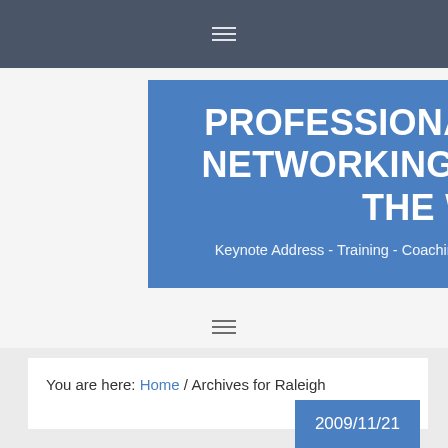Navigation menu bar
PROFESSIONAL BUSINESS NETWORKING ON AND OFF THE WEB
Keynote Address - Training - Coaching - Resources w/ Martin Brossman
Navigation hamburger menu
You are here: Home / Archives for Raleigh
2009/11/21